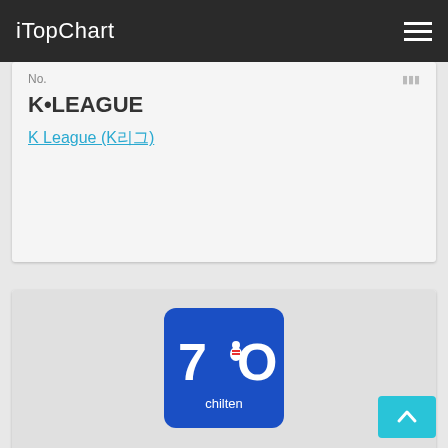iTopChart
No. [ ] [bars icon]
K•LEAGUE
K League (K리그)
[Figure (logo): 7iO chilten app logo — blue square with white bold '7iO' text where the i-dot is a red/white bowling pin, and 'chilten' in smaller white text below]
No. 85 [bars icon]
Stat&Co. Inc.
볼링